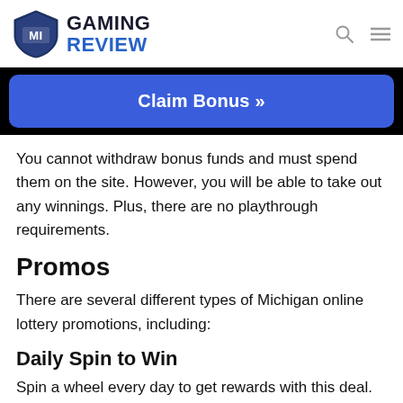MI GAMING REVIEW
[Figure (other): Blue 'Claim Bonus »' button on black background]
You cannot withdraw bonus funds and must spend them on the site. However, you will be able to take out any winnings. Plus, there are no playthrough requirements.
Promos
There are several different types of Michigan online lottery promotions, including:
Daily Spin to Win
Spin a wheel every day to get rewards with this deal. Anyone with a MI Lottery account can take advantage